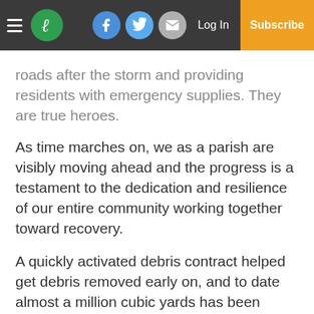Navigation bar with logo, social icons (Facebook, Twitter, Email), Log In, Subscribe
roads after the storm and providing residents with emergency supplies. They are true heroes.
As time marches on, we as a parish are visibly moving ahead and the progress is a testament to the dedication and resilience of our entire community working together toward recovery.
A quickly activated debris contract helped get debris removed early on, and to date almost a million cubic yards has been collected. Additionally, FEMA and the SBA have assisted residents with almost $150 million in losses and the ramp up of the Ida Sheltering